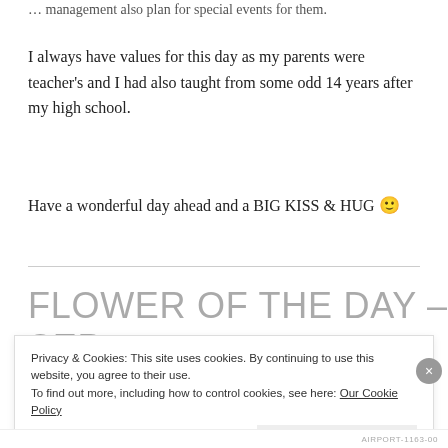… management also plan for special events for them.
I always have values for this day as my parents were teacher's and I had also taught from some odd 14 years after my high school.
Have a wonderful day ahead and a BIG KISS & HUG 🙂
FLOWER OF THE DAY – SEP
Privacy & Cookies: This site uses cookies. By continuing to use this website, you agree to their use.
To find out more, including how to control cookies, see here: Our Cookie Policy
Close and accept
AIRPORT-1163-00